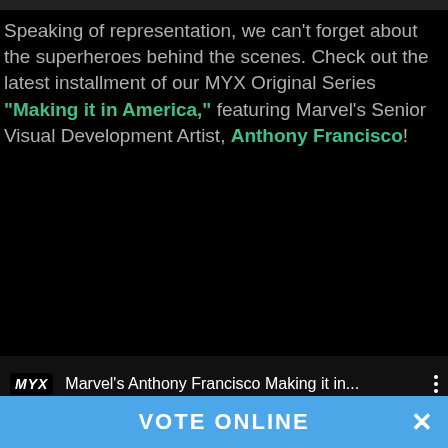Speaking of representation, we can't forget about the superheroes behind the scenes. Check out the latest installment of our MYX Original Series "Making it in America," featuring Marvel's Senior Visual Development Artist, Anthony Francisco!
[Figure (screenshot): Video row showing MYX logo and video title: Marvel's Anthony Francisco Making it in...]
VOTE ONLINE